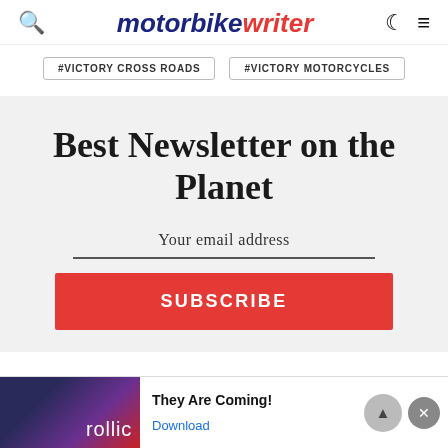motorbike writer
#VICTORY CROSS ROADS
#VICTORY MOTORCYCLES
Best Newsletter on the Planet
Your email address
SUBSCRIBE
Ad They Are Coming! Download